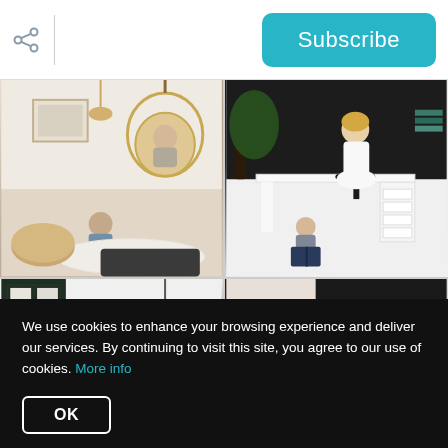[Figure (other): Share icon (network/share symbol) in the page header]
[Figure (other): Subscribe button in teal/cyan color in the page header]
[Figure (photo): Living room scene with a child sitting on the floor facing a rattan hanging chair, white fluffy rug, wooden coffee table, pendant lamp]
[Figure (photo): Home office with a woman sitting at a white desk, toddler on the floor reading a book, black chair with white fur, drawer units, large plant]
[Figure (photo): Room interior with black-framed windows/doors, chandelier light fixture, green plant, white walls]
[Figure (photo): Person crouching on floor near a black and white striped surface, casual home setting]
We use cookies to enhance your browsing experience and deliver our services. By continuing to visit this site, you agree to our use of cookies. More info
OK